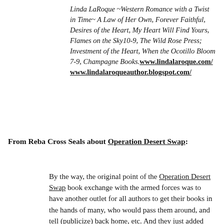Linda LaRoque ~Western Romance with a Twist in Time~ A Law of Her Own, Forever Faithful, Desires of the Heart, My Heart Will Find Yours, Flames on the Sky10-9, The Wild Rose Press; Investment of the Heart, When the Ocotillo Bloom 7-9, Champagne Books.www.lindalaroque.com/ www.lindalaroqueauthor.blogspot.com/
From Reba Cross Seals about Operation Desert Swap:
By the way, the original point of the Operation Desert Swap book exchange with the armed forces was to have another outlet for all authors to get their books in the hands of many, who would pass them around, and tell (publicize) back home, etc. And they just added "any book that